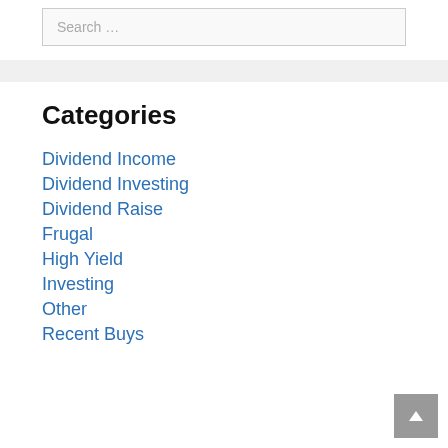Search …
Categories
Dividend Income
Dividend Investing
Dividend Raise
Frugal
High Yield
Investing
Other
Recent Buys